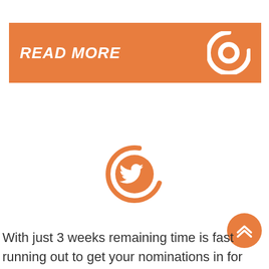[Figure (other): Orange banner with 'READ MORE' text in italic white and a circular loading/refresh icon on the right]
[Figure (other): Twitter bird icon inside an orange circular arrow/refresh ring icon]
[Figure (other): Orange circular button with double upward chevron arrows (scroll to top button)]
With just 3 weeks remaining time is fast running out to get your nominations in for this years Dynamites